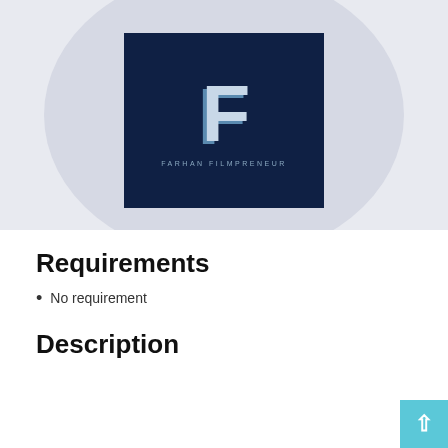[Figure (logo): Farhan Filmpreneur logo: dark navy square with a stylized metallic 'F' letter and text 'FARHAN FILMPRENEUR' below it, displayed on a light gray circular background]
Requirements
No requirement
Description